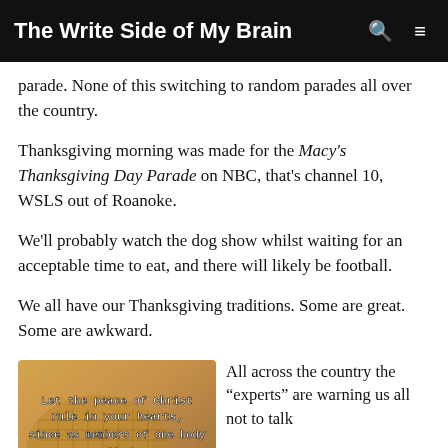The Write Side of My Brain
parade. None of this switching to random parades all over the country.
Thanksgiving morning was made for the Macy's Thanksgiving Day Parade on NBC, that's channel 10, WSLS out of Roanoke.
We'll probably watch the dog show whilst waiting for an acceptable time to eat, and there will likely be football.
We all have our Thanksgiving traditions. Some are great. Some are awkward.
[Figure (photo): Decorative image with text overlay: 'Let the peace of Christ rule in your hearts, since as members of one body you were called to peace.']
All across the country the "experts" are warning us all not to talk